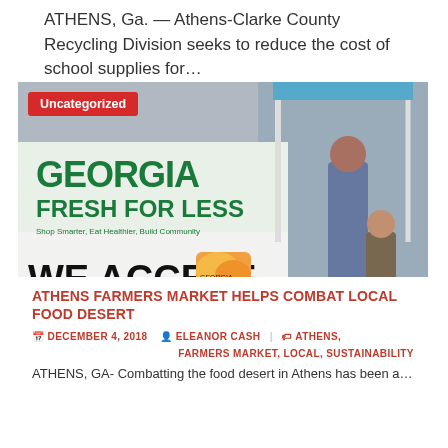ATHENS, Ga. — Athens-Clarke County Recycling Division seeks to reduce the cost of school supplies for…
[Figure (photo): Photo of a farmers market sign reading 'GEORGIA FRESH FOR LESS - Shop Smarter, Eat Healthier, Build Community' and 'WE ACCEPT & DOUBLE EBT' with fruit images, and people walking in background. Badge labeled 'Uncategorized' in red.]
ATHENS FARMERS MARKET HELPS COMBAT LOCAL FOOD DESERT
DECEMBER 4, 2018   ELEANOR CASH   ATHENS, FARMERS MARKET, LOCAL, SUSTAINABILITY
ATHENS, GA- Combatting the food desert in Athens has been a…